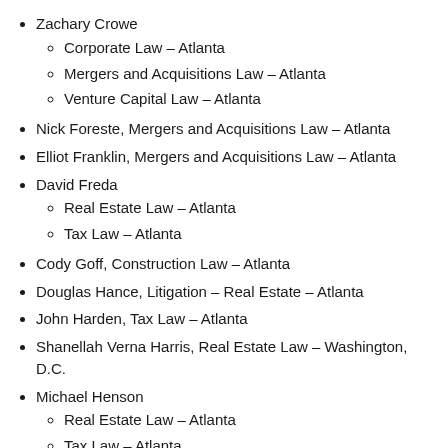Zachary Crowe
Corporate Law – Atlanta
Mergers and Acquisitions Law – Atlanta
Venture Capital Law – Atlanta
Nick Foreste, Mergers and Acquisitions Law – Atlanta
Elliot Franklin, Mergers and Acquisitions Law – Atlanta
David Freda
Real Estate Law – Atlanta
Tax Law – Atlanta
Cody Goff, Construction Law – Atlanta
Douglas Hance, Litigation – Real Estate – Atlanta
John Harden, Tax Law – Atlanta
Shanellah Verna Harris, Real Estate Law – Washington, D.C.
Michael Henson
Real Estate Law – Atlanta
Tax Law – Atlanta
Ashton King, Labor and Employment Law – Management – Atlanta
Abigail Larimer, Labor and Employment Law – Management